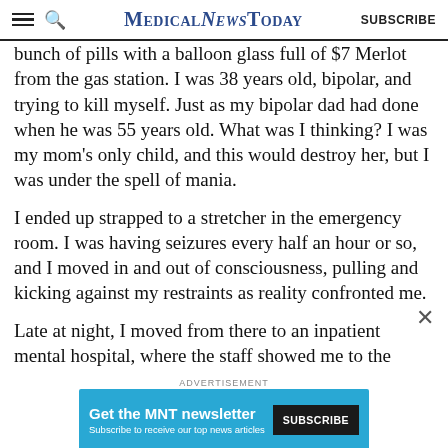MedicalNewsToday | SUBSCRIBE
bunch of pills with a balloon glass full of $7 Merlot from the gas station. I was 38 years old, bipolar, and trying to kill myself. Just as my bipolar dad had done when he was 55 years old. What was I thinking? I was my mom's only child, and this would destroy her, but I was under the spell of mania.
I ended up strapped to a stretcher in the emergency room. I was having seizures every half an hour or so, and I moved in and out of consciousness, pulling and kicking against my restraints as reality confronted me.
Late at night, I moved from there to an inpatient mental hospital, where the staff showed me to the room that I
[Figure (screenshot): Advertisement banner for MNT newsletter: 'Get the MNT newsletter. Subscribe to receive our top news articles.' with a SUBSCRIBE button on dark background, on a teal/blue background.]